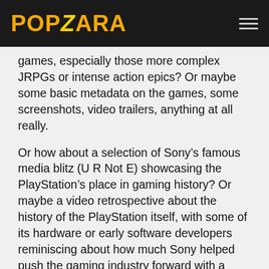POPZARA
games, especially those more complex JRPGs or intense action epics? Or maybe some basic metadata on the games, some screenshots, video trailers, anything at all really.
Or how about a selection of Sony’s famous media blitz (U R Not E) showcasing the PlayStation’s place in gaming history? Or maybe a video retrospective about the history of the PlayStation itself, with some of its hardware or early software developers reminiscing about how much Sony helped push the gaming industry forward with a console that felt more sophisticated than anything else. Heck, we see YouTube stars create content like this all the time – some of it very good. If